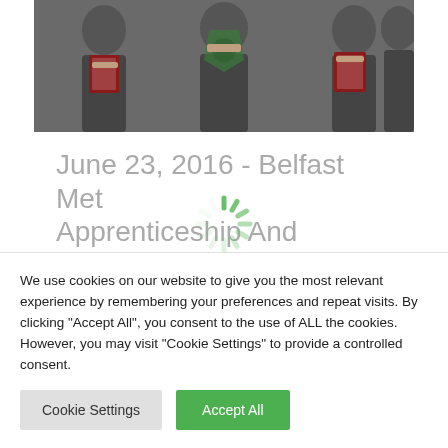[Figure (photo): Group of people in formal attire holding awards/shields/plaques, appears to be an awards ceremony]
June 23, 2016 - Belfast Met Apprenticeship And Training Awards (Winner)
We use cookies on our website to give you the most relevant experience by remembering your preferences and repeat visits. By clicking "Accept All", you consent to the use of ALL the cookies. However, you may visit "Cookie Settings" to provide a controlled consent.